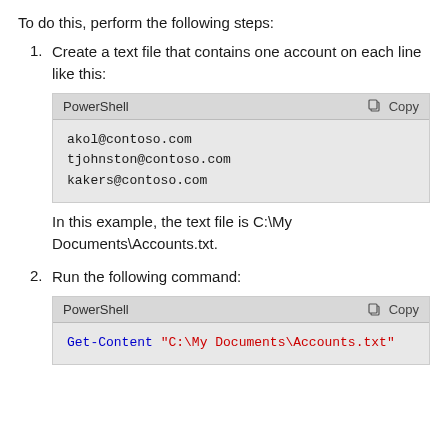To do this, perform the following steps:
1. Create a text file that contains one account on each line like this:
[Figure (screenshot): PowerShell code block showing:
akol@contoso.com
tjohnston@contoso.com
kakers@contoso.com]
In this example, the text file is C:\My Documents\Accounts.txt.
2. Run the following command:
[Figure (screenshot): PowerShell code block showing:
Get-Content "C:\My Documents\Accounts.txt"]